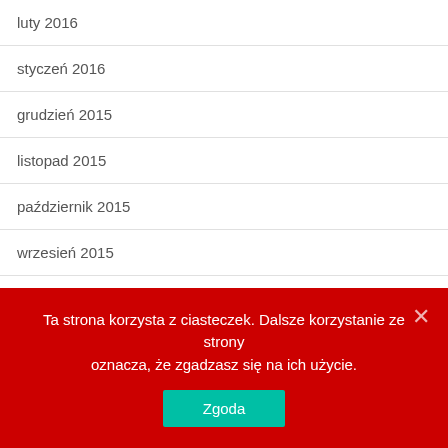luty 2016
styczeń 2016
grudzień 2015
listopad 2015
październik 2015
wrzesień 2015
sierpień 2015
lipiec 2015
maj 2015
Ta strona korzysta z ciasteczek. Dalsze korzystanie ze strony oznacza, że zgadzasz się na ich użycie.